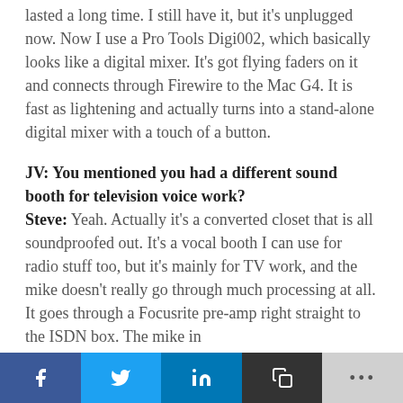lasted a long time. I still have it, but it's unplugged now. Now I use a Pro Tools Digi002, which basically looks like a digital mixer. It's got flying faders on it and connects through Firewire to the Mac G4. It is fast as lightening and actually turns into a stand-alone digital mixer with a touch of a button.
JV: You mentioned you had a different sound booth for television voice work? Steve: Yeah. Actually it's a converted closet that is all soundproofed out. It's a vocal booth I can use for radio stuff too, but it's mainly for TV work, and the mike doesn't really go through much processing at all. It goes through a Focusrite pre-amp right straight to the ISDN box. The mike in
f  [twitter]  in  [copy]  ...